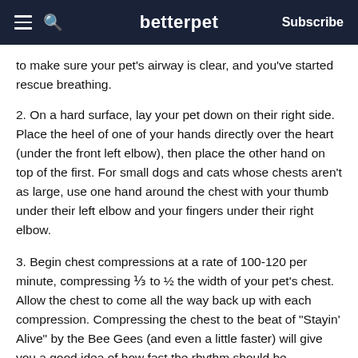betterpet | Subscribe
to make sure your pet's airway is clear, and you've started rescue breathing.
2. On a hard surface, lay your pet down on their right side. Place the heel of one of your hands directly over the heart (under the front left elbow), then place the other hand on top of the first. For small dogs and cats whose chests aren't as large, use one hand around the chest with your thumb under their left elbow and your fingers under their right elbow.
3. Begin chest compressions at a rate of 100-120 per minute, compressing ⅓ to ½ the width of your pet's chest. Allow the chest to come all the way back up with each compression. Compressing the chest to the beat of "Stayin' Alive" by the Bee Gees (and even a little faster) will give you a good idea of how fast the rhythm should be.